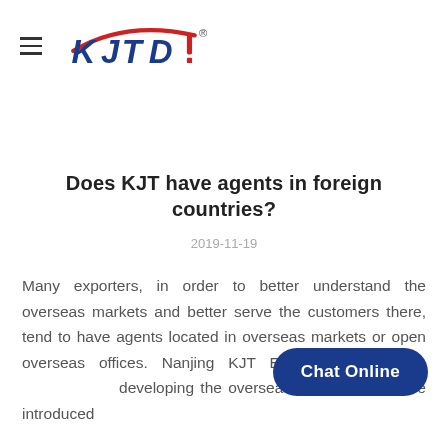[Figure (logo): KJTDO brand logo with hamburger menu icon. Blue and red stylized lettering spelling KJTDO with a registered trademark symbol.]
Does KJT have agents in foreign countries?
2019-11-19
Many exporters, in order to better understand the overseas markets and better serve the customers there, tend to have agents located in overseas markets or open overseas offices. Nanjing KJT Electric Co developing the overseas markets. We have introduced
[Figure (other): Chat Online button overlay in dark blue rounded rectangle]